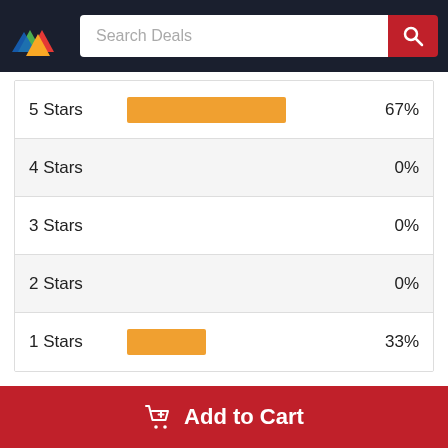[Figure (screenshot): Navigation header with logo and search bar]
[Figure (bar-chart): Star Ratings Distribution]
Write a Review
Michelle Hayes
Verified Buyer: Yes
Add to Cart